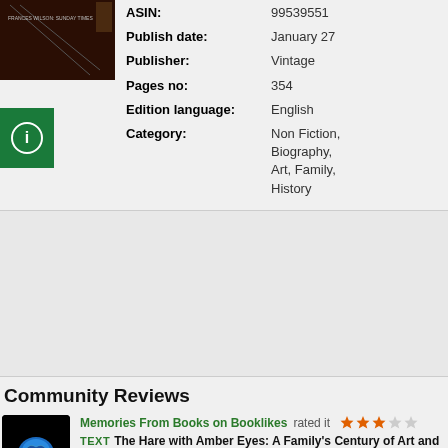[Figure (photo): Book cover image, dark brown/black background with partial text visible]
| ASIN: | 99539551 |
| Publish date: | January 27 |
| Publisher: | Vintage |
| Pages no: | 354 |
| Edition language: | English |
| Category: | Non Fiction, Biography, Art, Family, History |
[Figure (logo): Green square info icon with white circle and letter i]
Community Reviews
[Figure (photo): Memories From Books on Booklikes reviewer avatar - blue brain logo on black background]
Memories From Books on Booklikes rated it
[Figure (other): 3 out of 5 stars rating]
TEXT  The Hare with Amber Eyes: A Family's Century of Art and D
Edmund de Waal's book traces the history of an art collecti...